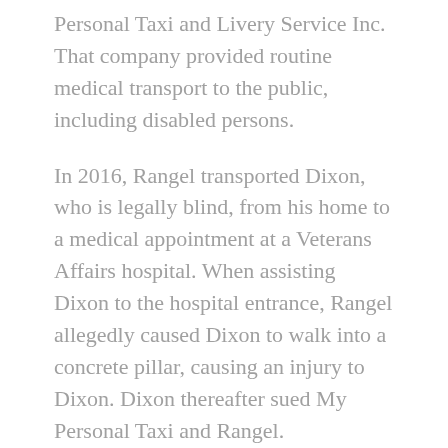Personal Taxi and Livery Service Inc. That company provided routine medical transport to the public, including disabled persons.
In 2016, Rangel transported Dixon, who is legally blind, from his home to a medical appointment at a Veterans Affairs hospital. When assisting Dixon to the hospital entrance, Rangel allegedly caused Dixon to walk into a concrete pillar, causing an injury to Dixon. Dixon thereafter sued My Personal Taxi and Rangel.
First Chicago provided automobile liability coverage for My Personal Taxi. Its policy covered, among other things, accidents